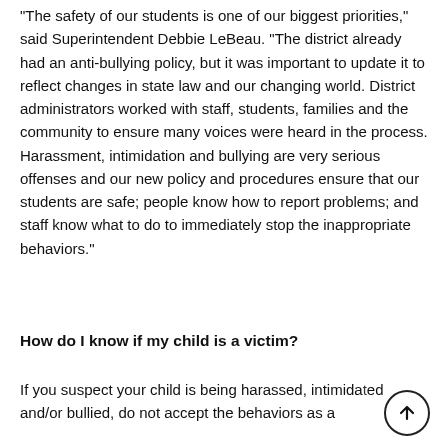"The safety of our students is one of our biggest priorities," said Superintendent Debbie LeBeau. "The district already had an anti-bullying policy, but it was important to update it to reflect changes in state law and our changing world. District administrators worked with staff, students, families and the community to ensure many voices were heard in the process. Harassment, intimidation and bullying are very serious offenses and our new policy and procedures ensure that our students are safe; people know how to report problems; and staff know what to do to immediately stop the inappropriate behaviors."
How do I know if my child is a victim?
If you suspect your child is being harassed, intimidated and/or bullied, do not accept the behaviors as a